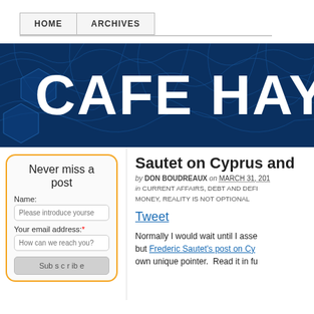HOME  ARCHIVES
[Figure (illustration): Cafe Hayek blog banner with dark blue circuit/wave background and large white bold text reading CAFE HAY (truncated)]
Never miss a post
Name: [Please introduce yourself] Your email address:* [How can we reach you?] [Subscribe]
Sautet on Cyprus and
by DON BOUDREAUX on MARCH 31, 201 in CURRENT AFFAIRS, DEBT AND DEFI MONEY, REALITY IS NOT OPTIONAL
Tweet
Normally I would wait until I asse but Frederic Sautet's post on Cy own unique pointer.  Read it in fu